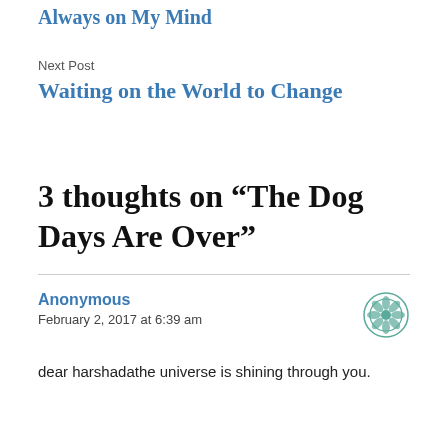Always on My Mind
Next Post
Waiting on the World to Change
3 thoughts on “The Dog Days Are Over”
Anonymous
February 2, 2017 at 6:39 am
dear harshadathe universe is shining through you.